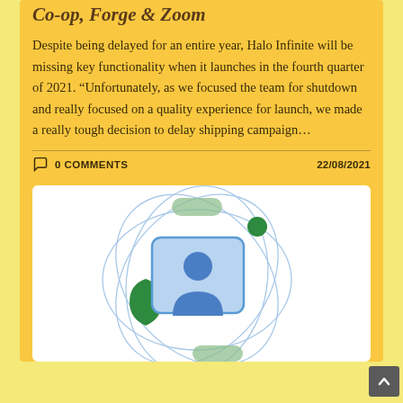Co-op, Forge & Zoom
Despite being delayed for an entire year, Halo Infinite will be missing key functionality when it launches in the fourth quarter of 2021. "Unfortunately, as we focused the team for shutdown and really focused on a quality experience for launch, we made a really tough decision to delay shipping campaign…
0 COMMENTS    22/08/2021
[Figure (illustration): Digital illustration of a person ID card icon centered within orbiting rings and network nodes, with green shield and green dot accents suggesting identity protection or digital security.]